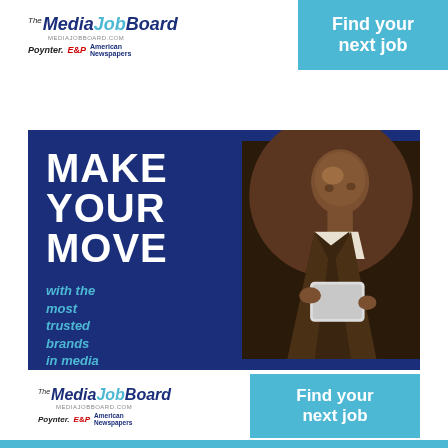[Figure (logo): The Media Job Board logo with MEDIAJOBBOARD.COM url and partner logos: Poynter, E&P, American Newspapers]
Find your next job
[Figure (infographic): Blue banner ad: MAKE YOUR MOVE with the most trusted brands in media, featuring a photo of a man in a suit looking at a tablet, on dark blue background]
[Figure (logo): The Media Job Board logo with MEDIAJOBBOARD.COM url and partner logos: Poynter, E&P, American Newspapers]
Find your next job